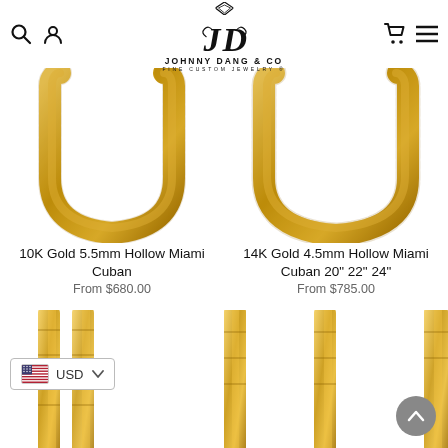JOHNNY DANG & CO — Fine Custom Jewelry
[Figure (photo): 10K Gold 5.5mm Hollow Miami Cuban chain on white background]
[Figure (photo): 14K Gold 4.5mm Hollow Miami Cuban chain on white background]
10K Gold 5.5mm Hollow Miami Cuban
From $680.00
14K Gold 4.5mm Hollow Miami Cuban 20" 22" 24"
From $785.00
[Figure (photo): Partial view of gold chain product - bottom left]
[Figure (photo): Partial view of gold chain product - bottom right]